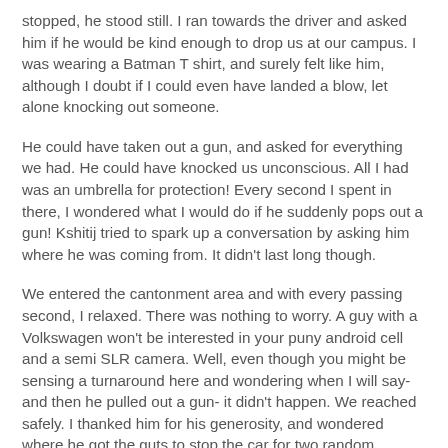stopped, he stood still. I ran towards the driver and asked him if he would be kind enough to drop us at our campus. I was wearing a Batman T shirt, and surely felt like him, although I doubt if I could even have landed a blow, let alone knocking out someone.
He could have taken out a gun, and asked for everything we had. He could have knocked us unconscious. All I had was an umbrella for protection! Every second I spent in there, I wondered what I would do if he suddenly pops out a gun! Kshitij tried to spark up a conversation by asking him where he was coming from. It didn't last long though.
We entered the cantonment area and with every passing second, I relaxed. There was nothing to worry. A guy with a Volkswagen won't be interested in your puny android cell and a semi SLR camera. Well, even though you might be sensing a turnaround here and wondering when I will say- and then he pulled out a gun- it didn't happen. We reached safely. I thanked him for his generosity, and wondered where he got the guts to stop the car for two random strangers on a highway!